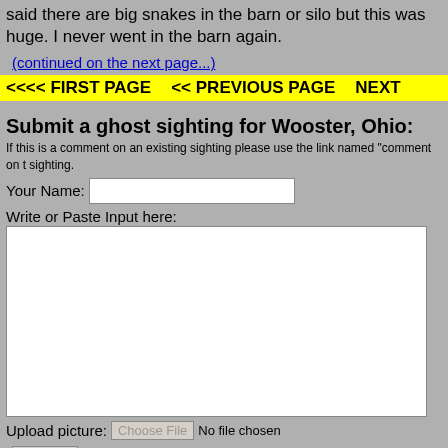said there are big snakes in the barn or silo but this was huge. I never went in the barn again.
(continued on the next page...)
<<<< FIRST PAGE    << PREVIOUS PAGE    NEXT
Submit a ghost sighting for Wooster, Ohio:
If this is a comment on an existing sighting please use the link named "comment on t sighting.
Your Name: [text input]
Write or Paste Input here:
[textarea]
Upload picture: Choose File  No file chosen
Submit